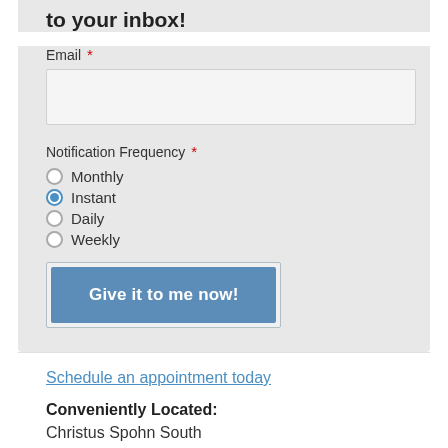to your inbox!
Email *
Notification Frequency *
Monthly
Instant (selected)
Daily
Weekly
Give it to me now!
Schedule an appointment today
Conveniently Located: Christus Spohn South Medical Tower 5920 Saratoga, Suite 600-A